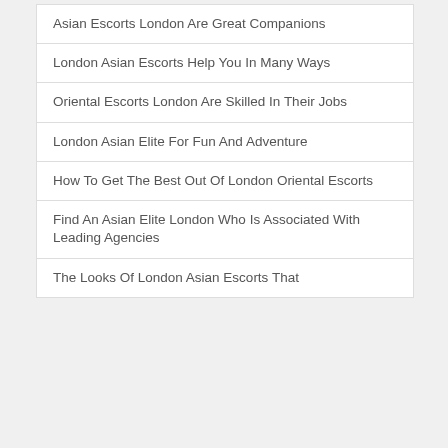Asian Escorts London Are Great Companions
London Asian Escorts Help You In Many Ways
Oriental Escorts London Are Skilled In Their Jobs
London Asian Elite For Fun And Adventure
How To Get The Best Out Of London Oriental Escorts
Find An Asian Elite London Who Is Associated With Leading Agencies
The Looks Of London Asian Escorts That